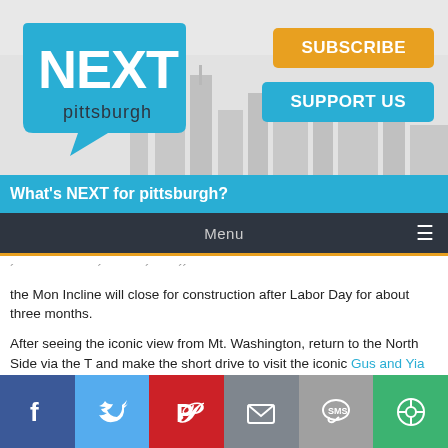[Figure (logo): NEXT Pittsburgh logo - speech bubble in cyan/teal with NEXT in white bold text and 'pittsburgh' below in dark text, with city skyline silhouette in background. Orange SUBSCRIBE button and cyan SUPPORT US button on right side.]
What's NEXT for pittsburgh?
Menu
the Mon Incline will close for construction after Labor Day for about three months.
After seeing the iconic view from Mt. Washington, return to the North Side via the T and make the short drive to visit the iconic Gus and Yia Yia icy ball stand in Allegheny Commons on West Ohio Street. Gus has been hand-shaving ice for these cool treats since 1951.
[Figure (infographic): Social sharing bar with buttons: Facebook (blue), Twitter (light blue), Pinterest (red), Email (grey), SMS (grey), Share (green)]